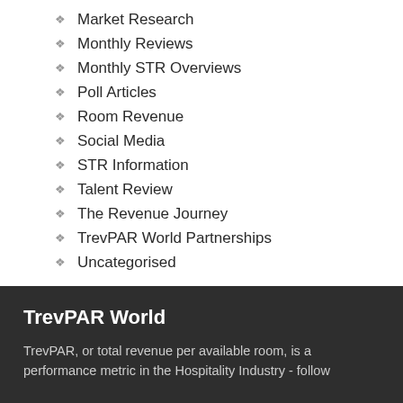Market Research
Monthly Reviews
Monthly STR Overviews
Poll Articles
Room Revenue
Social Media
STR Information
Talent Review
The Revenue Journey
TrevPAR World Partnerships
Uncategorised
TrevPAR World
TrevPAR, or total revenue per available room, is a performance metric in the Hospitality Industry - follow